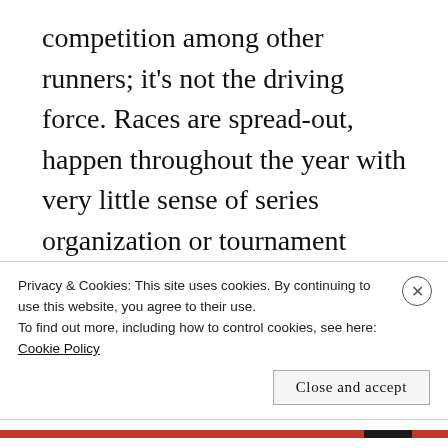competition among other runners; it's not the driving force.  Races are spread-out, happen throughout the year with very little sense of series organization or tournament style (other than a few like the North Face Endurance Challenge and the evolving Montrail((Patagonia?)) Ultra Cup ((?))). Instead, there are simply some classic races, a few with huge followings; most people are well read on these traditions.  Races more become
Privacy & Cookies: This site uses cookies. By continuing to use this website, you agree to their use.
To find out more, including how to control cookies, see here: Cookie Policy
Close and accept